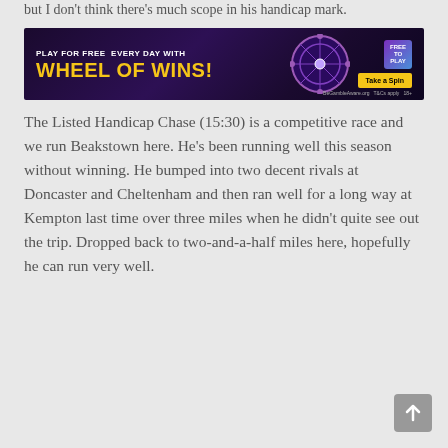but I don't think there's much scope in his handicap mark.
[Figure (infographic): Advertisement banner for 'Wheel of Wins' with purple/dark background, yellow heading text, a spinning wheel graphic, 'Free to Play' badge, and 'Take a Spin' yellow button. BeGambleAware.org and T&Cs apply logos at bottom right.]
The Listed Handicap Chase (15:30) is a competitive race and we run Beakstown here. He's been running well this season without winning. He bumped into two decent rivals at Doncaster and Cheltenham and then ran well for a long way at Kempton last time over three miles when he didn't quite see out the trip. Dropped back to two-and-a-half miles here, hopefully he can run very well.